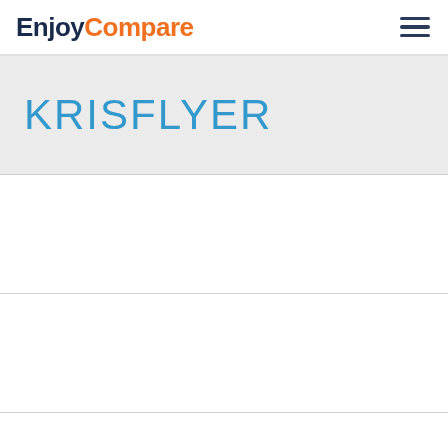EnjoyCompare
KRISFLYER
[Figure (other): Empty white card block 1]
[Figure (other): Empty white card block 2]
[Figure (other): Empty white card block 3]
[Figure (other): Empty white card block 4 (partial)]